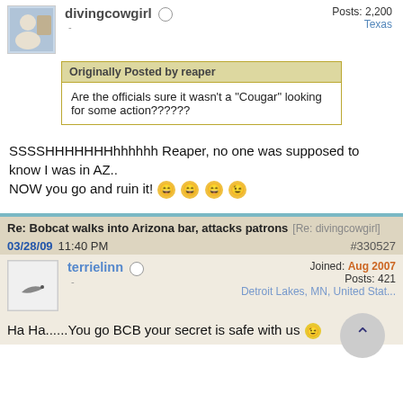divingcowgirl
Posts: 2,200
Texas
Originally Posted by reaper
Are the officials sure it wasn't a "Cougar" looking for some action??????
SSShhhhhhhhhh Reaper, no one was supposed to know I was in AZ..
NOW you go and ruin it!
Re: Bobcat walks into Arizona bar, attacks patrons [Re: divingcowgirl]
03/28/09 11:40 PM #330527
terrielinn
Joined: Aug 2007
Posts: 421
Detroit Lakes, MN, United Stat...
Ha Ha......You go BCB your secret is safe with us